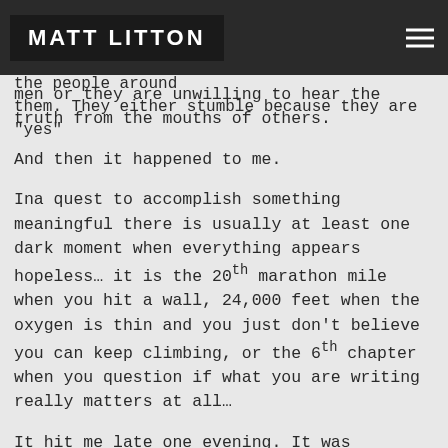MATT LITTON
backs and defeat because they are not honest or the people around them. They either stumble because they are "yes" men or they are unwilling to hear the truth from the mouths of others.
And then it happened to me.
Ina quest to accomplish something meaningful there is usually at least one dark moment when everything appears hopeless… it is the 20th marathon mile when you hit a wall, 24,000 feet when the oxygen is thin and you just don't believe you can keep climbing, or the 6th chapter when you question if what you are writing really matters at all…
It hit me late one evening. It was miserable. I was angry and frustrated and the moment almost got the best of me. But someone decided to tell me the truth. My wife listened to my frustration for a